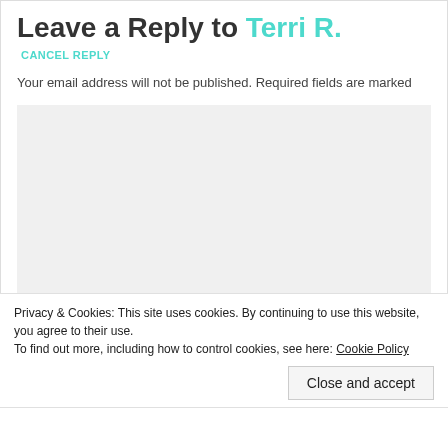Leave a Reply to Terri R.
CANCEL REPLY
Your email address will not be published. Required fields are marked
[Figure (other): Empty textarea input box with light gray background]
Privacy & Cookies: This site uses cookies. By continuing to use this website, you agree to their use.
To find out more, including how to control cookies, see here: Cookie Policy
Close and accept